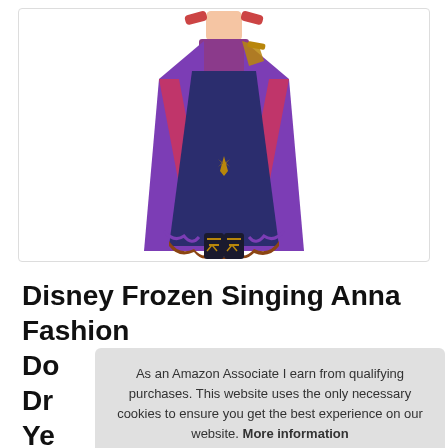[Figure (photo): Disney Frozen Singing Anna Fashion Doll in a purple and navy dress with gold accents and black boots, shown from mid-torso down]
Disney Frozen Singing Anna Fashion Do... Dr... Ye...
As an Amazon Associate I earn from qualifying purchases. This website uses the only necessary cookies to ensure you get the best experience on our website. More information